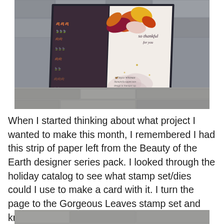[Figure (photo): A handmade fall-themed greeting card displayed on a stone surface. The card features colorful autumn leaves in orange, yellow, and burgundy at the top, with a cursive sentiment reading 'so thankful for you'. The card has a dark navy border and is propped open showing an interior panel with leaf patterns. A watermark reads 'Joyce Whitman stampinScrapper.com'.]
When I started thinking about what project I wanted to make this month, I remembered I had this strip of paper left from the Beauty of the Earth designer series pack. I looked through the holiday catalog to see what stamp set/dies could I use to make a card with it. I turn the page to the Gorgeous Leaves stamp set and knew that I wanted to use that set.
[Figure (photo): Partial view of another photo at the bottom of the page, showing a stone surface.]